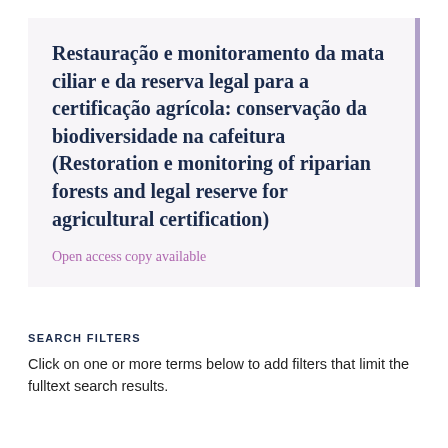Restauração e monitoramento da mata ciliar e da reserva legal para a certificação agrícola: conservação da biodiversidade na cafeitura (Restoration e monitoring of riparian forests and legal reserve for agricultural certification)
Open access copy available
SEARCH FILTERS
Click on one or more terms below to add filters that limit the fulltext search results.